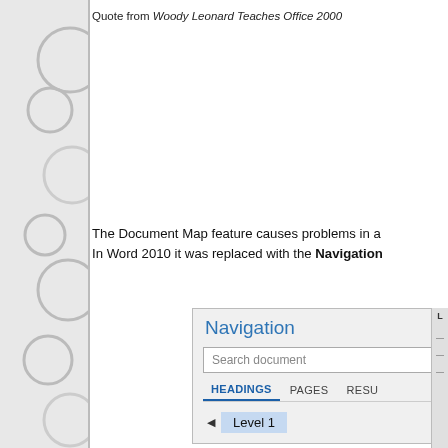Quote from Woody Leonard Teaches Office 2000
The Document Map feature causes problems in a number of cases. In Word 2010 it was replaced with the Navigation
[Figure (screenshot): Microsoft Word Navigation pane showing Search document field, HEADINGS/PAGES/RESULTS tabs, and a Level 1 heading item]